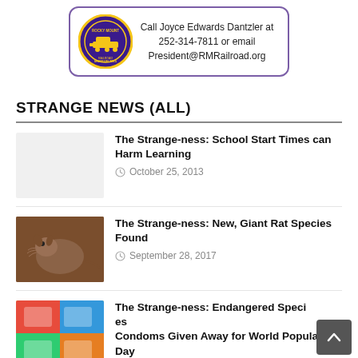[Figure (logo): Rocky Mount Railroad Museum logo circle with train, purple border. Ad box with contact info: Call Joyce Edwards Dantzler at 252-314-7811 or email President@RMRailroad.org]
STRANGE NEWS (ALL)
The Strange-ness: School Start Times can Harm Learning
October 25, 2013
[Figure (photo): Thumbnail photo of a large rat/rodent (brown), for the Giant Rat Species article]
The Strange-ness: New, Giant Rat Species Found
September 28, 2017
[Figure (photo): Thumbnail of colorful condom packages for Endangered Species Condoms article]
The Strange-ness: Endangered Species Condoms Given Away for World Population Day